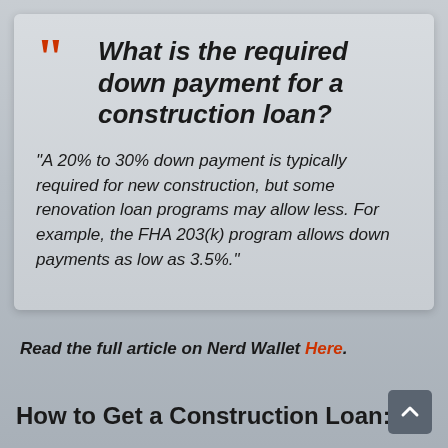What is the required down payment for a construction loan?
"A 20% to 30% down payment is typically required for new construction, but some renovation loan programs may allow less. For example, the FHA 203(k) program allows down payments as low as 3.5%."
Read the full article on Nerd Wallet Here.
How to Get a Construction Loan: